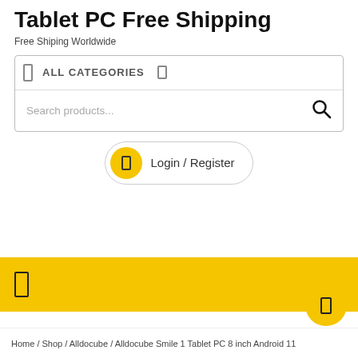Tablet PC Free Shipping
Free Shiping Worldwide
ALL CATEGORIES
Search products...
Login / Register
Home / Shop / Alldocube / Alldocube Smile 1 Tablet PC 8 inch Android 11